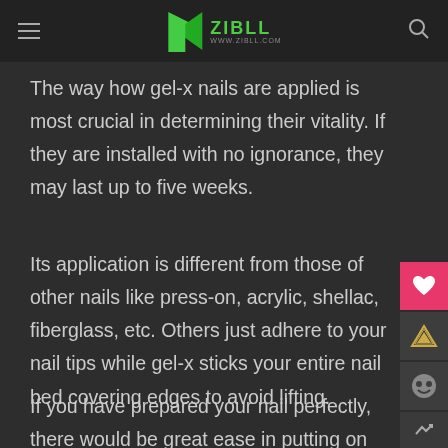ZIBLL — www.zibll.com
The way how gel-x nails are applied is most crucial in determining their vitality. If they are installed with no ignorance, they may last up to five weeks.
Its application is different from those of other nails like press-on, acrylic, shellac, fiberglass, etc. Others just adhere to your nail tips while gel-x sticks your entire nail bed covering edges to avoid lifting.
If you have prepared your nail perfectly, there would be great ease in putting on gel-x